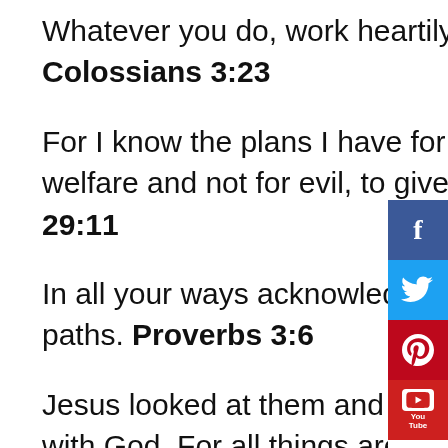Whatever you do, work heartily, as for the Lord and not for men, Colossians 3:23
For I know the plans I have for you, declares the Lord, plans for welfare and not for evil, to give you a future and a hope. Jeremiah 29:11
In all your ways acknowledge him, and he will make straight your paths. Proverbs 3:6
Jesus looked at them and said, “With man it is impossible, but not with God. For all things are possible with God.” Mark 10:27
Safe Room/Storm Shelter/Basement (if applicable) (Bible Verses for Home)